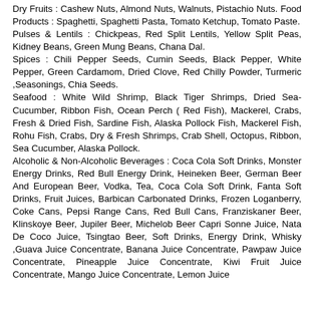Dry Fruits : Cashew Nuts, Almond Nuts, Walnuts, Pistachio Nuts. Food Products : Spaghetti, Spaghetti Pasta, Tomato Ketchup, Tomato Paste. Pulses & Lentils : Chickpeas, Red Split Lentils, Yellow Split Peas, Kidney Beans, Green Mung Beans, Chana Dal. Spices : Chili Pepper Seeds, Cumin Seeds, Black Pepper, White Pepper, Green Cardamom, Dried Clove, Red Chilly Powder, Turmeric ,Seasonings, Chia Seeds. Seafood : White Wild Shrimp, Black Tiger Shrimps, Dried Sea-Cucumber, Ribbon Fish, Ocean Perch ( Red Fish), Mackerel, Crabs, Fresh & Dried Fish, Sardine Fish, Alaska Pollock Fish, Mackerel Fish, Rohu Fish, Crabs, Dry & Fresh Shrimps, Crab Shell, Octopus, Ribbon, Sea Cucumber, Alaska Pollock. Alcoholic & Non-Alcoholic Beverages : Coca Cola Soft Drinks, Monster Energy Drinks, Red Bull Energy Drink, Heineken Beer, German Beer And European Beer, Vodka, Tea, Coca Cola Soft Drink, Fanta Soft Drinks, Fruit Juices, Barbican Carbonated Drinks, Frozen Loganberry, Coke Cans, Pepsi Range Cans, Red Bull Cans, Franziskaner Beer, Klinskoye Beer, Jupiler Beer, Michelob Beer Capri Sonne Juice, Nata De Coco Juice, Tsingtao Beer, Soft Drinks, Energy Drink, Whisky ,Guava Juice Concentrate, Banana Juice Concentrate, Pawpaw Juice Concentrate, Pineapple Juice Concentrate, Kiwi Fruit Juice Concentrate, Mango Juice Concentrate, Lemon Juice